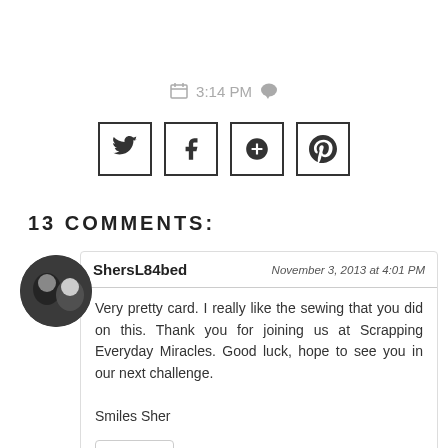3:14 PM
[Figure (infographic): Social sharing buttons for Twitter, Facebook, Google+, and Pinterest]
13 COMMENTS:
ShersL84bed — November 3, 2013 at 4:01 PM — Very pretty card. I really like the sewing that you did on this. Thank you for joining us at Scrapping Everyday Miracles. Good luck, hope to see you in our next challenge.

Smiles Sher